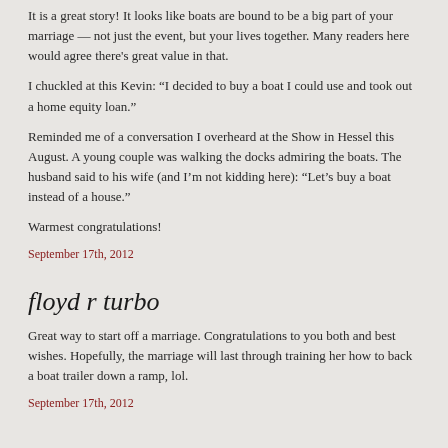It is a great story! It looks like boats are bound to be a big part of your marriage — not just the event, but your lives together. Many readers here would agree there's great value in that.
I chuckled at this Kevin: “I decided to buy a boat I could use and took out a home equity loan.”
Reminded me of a conversation I overheard at the Show in Hessel this August. A young couple was walking the docks admiring the boats. The husband said to his wife (and I’m not kidding here): “Let’s buy a boat instead of a house.”
Warmest congratulations!
September 17th, 2012
floyd r turbo
Great way to start off a marriage. Congratulations to you both and best wishes. Hopefully, the marriage will last through training her how to back a boat trailer down a ramp, lol.
September 17th, 2012